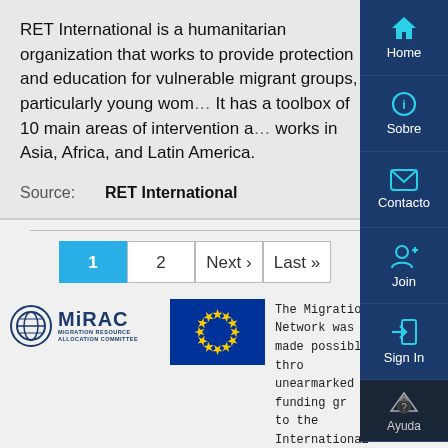RET International is a humanitarian organization that works to provide protection and education for vulnerable migrant groups, particularly young women. It has a toolbox of 10 main areas of intervention and works in Asia, Africa, and Latin America.
Source: RET International
1  2  Next ›  Last »
[Figure (logo): MiRAC Migration Resource Allocation Committee logo]
[Figure (logo): European Union flag - blue background with circle of yellow stars]
The Migration Network was made possible through unearmarked funding given to the International Organization for Migration (IOM) and internally allocated through the Migration Resource Allocation
[Figure (other): Right sidebar navigation buttons: Home, Sobre, Contacto, Join, Sign In, Ayuda]